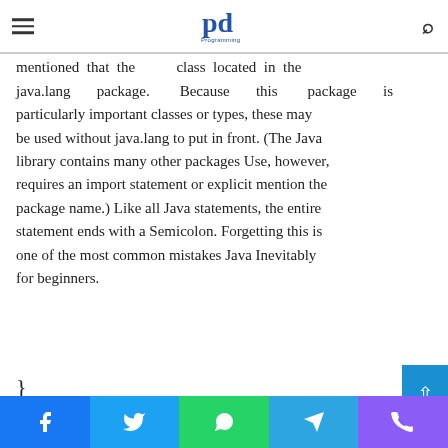Programming Digest logo with hamburger menu and search icon
For the sake of completeness, it should be mentioned that the String class located in the java.lang package. Because this package is particularly important classes or types, these may be used without java.lang to put in front. (The Java library contains many other packages Use, however, requires an import statement or explicit mention the package name.) Like all Java statements, the entire statement ends with a Semicolon. Forgetting this is one of the most common mistakes Java Inevitably for beginners.
}
Social share bar: Facebook, Twitter, WhatsApp, Telegram, Phone